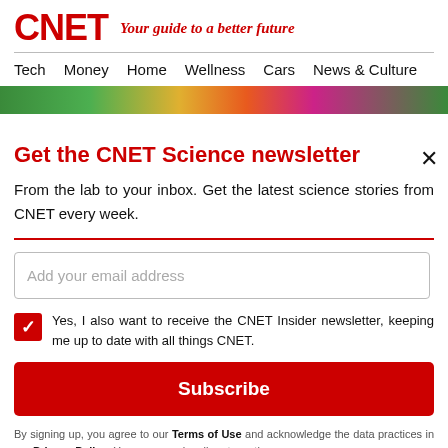CNET — Your guide to a better future
Tech  Money  Home  Wellness  Cars  News & Culture
[Figure (photo): Colorful banner/advertisement strip with green and multicolored graphics]
Get the CNET Science newsletter
From the lab to your inbox. Get the latest science stories from CNET every week.
Add your email address
Yes, I also want to receive the CNET Insider newsletter, keeping me up to date with all things CNET.
Subscribe
By signing up, you agree to our Terms of Use and acknowledge the data practices in our Privacy Policy. You may unsubscribe at any time.